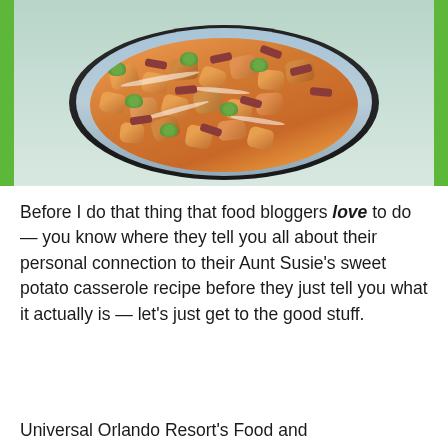[Figure (photo): A round aluminum foil pan filled with tater tots topped with white cream sauce drizzle, broccoli pieces, and bacon bits, set on a light blue-gray table surface against a green background.]
Before I do that thing that food bloggers love to do — you know where they tell you all about their personal connection to their Aunt Susie's sweet potato casserole recipe before they just tell you what it actually is — let's just get to the good stuff.
Universal Orlando Resort's Food and